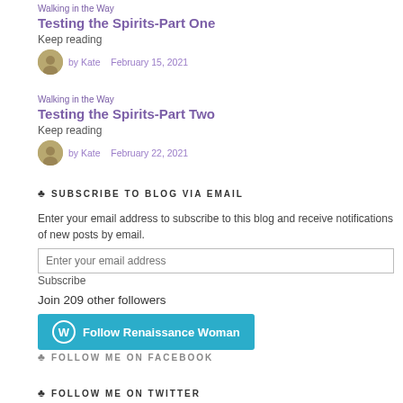Walking in the Way
Testing the Spirits-Part One
Keep reading
by Kate   February 15, 2021
Walking in the Way
Testing the Spirits-Part Two
Keep reading
by Kate   February 22, 2021
SUBSCRIBE TO BLOG VIA EMAIL
Enter your email address to subscribe to this blog and receive notifications of new posts by email.
Enter your email address
Subscribe
Join 209 other followers
Follow Renaissance Woman
FOLLOW ME ON FACEBOOK
FOLLOW ME ON TWITTER